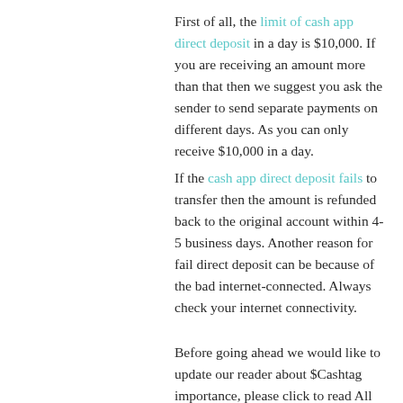First of all, the limit of cash app direct deposit in a day is $10,000. If you are receiving an amount more than that then we suggest you ask the sender to send separate payments on different days. As you can only receive $10,000 in a day.
If the cash app direct deposit fails to transfer then the amount is refunded back to the original account within 4-5 business days. Another reason for fail direct deposit can be because of the bad internet-connected. Always check your internet connectivity.
Before going ahead we would like to update our reader about $Cashtag importance, please click to read All about $Cashtag in Cash app.